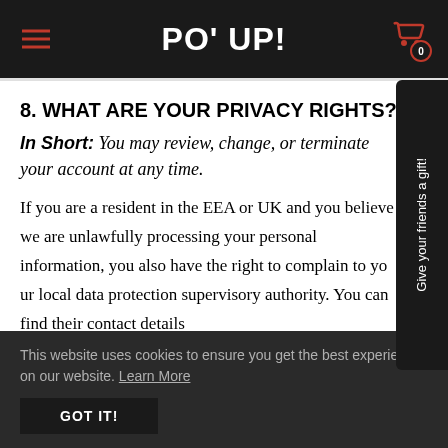PO' UP!
8. WHAT ARE YOUR PRIVACY RIGHTS?
In Short: You may review, change, or terminate your account at any time.
If you are a resident in the EEA or UK and you believe we are unlawfully processing your personal information, you also have the right to complain to your local data protection supervisory authority. You can find their contact details
This website uses cookies to ensure you get the best experience on our website. Learn More GOT IT!